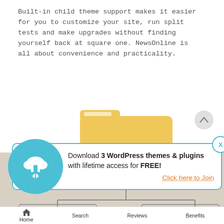Built-in child theme support makes it easier for you to customize your site, run split tests and make upgrades without finding yourself back at square one. NewsOnline is all about convenience and practicality.
[Figure (illustration): A folder icon (yellow/gold) on top connected by a vertical line to a child theme structure diagram below with two sub-folder icons in a beige background area. A scroll-up button (gray circle with up chevron) is in the upper right of the diagram.]
Download 3 WordPress themes & plugins with lifetime access for FREE!
Click here to Join
Home   Search   Reviews   Benefits